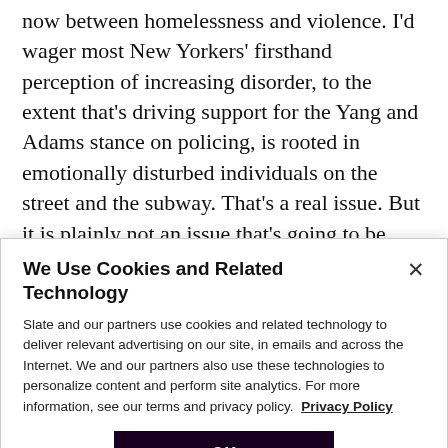now between homelessness and violence. I'd wager most New Yorkers' firsthand perception of increasing disorder, to the extent that's driving support for the Yang and Adams stance on policing, is rooted in emotionally disturbed individuals on the street and the subway. That's a real issue. But it is plainly not an issue that's going to be solved by aggressive policing, which is the Adams vision. Scott Stringer is right when he says Rikers—the notorious city jail—is the largest mental
We Use Cookies and Related Technology
Slate and our partners use cookies and related technology to deliver relevant advertising on our site, in emails and across the Internet. We and our partners also use these technologies to personalize content and perform site analytics. For more information, see our terms and privacy policy. Privacy Policy